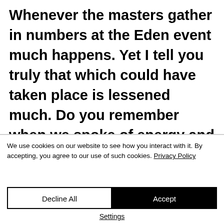Whenever the masters gather in numbers at the Eden event much happens. Yet I tell you truly that which could have taken place is lessened much. Do you remember when we spoke of energy and grace? You should for you wrote a book of it and healing.
We use cookies on our website to see how you interact with it. By accepting, you agree to our use of such cookies. Privacy Policy
Decline All
Accept
Settings